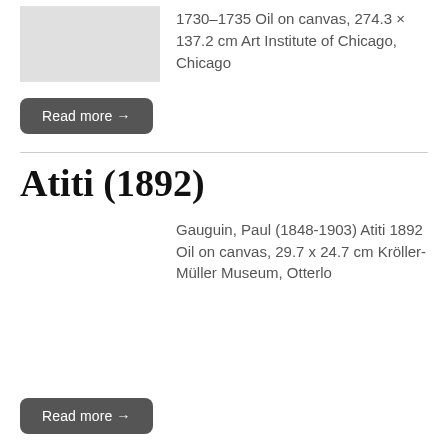[Figure (photo): Thumbnail image placeholder for artwork, light gray rectangle]
1730–1735 Oil on canvas, 274.3 × 137.2 cm Art Institute of Chicago, Chicago
Read more →
Atiti (1892)
Gauguin, Paul (1848-1903) Atiti 1892 Oil on canvas, 29.7 x 24.7 cm Kröller-Müller Museum, Otterlo
Read more →